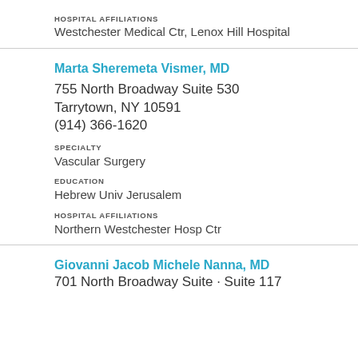HOSPITAL AFFILIATIONS
Westchester Medical Ctr, Lenox Hill Hospital
Marta Sheremeta Vismer, MD
755 North Broadway Suite 530
Tarrytown, NY 10591
(914) 366-1620
SPECIALTY
Vascular Surgery
EDUCATION
Hebrew Univ Jerusalem
HOSPITAL AFFILIATIONS
Northern Westchester Hosp Ctr
Giovanni Jacob Michele Nanna, MD
701 North Broadway...